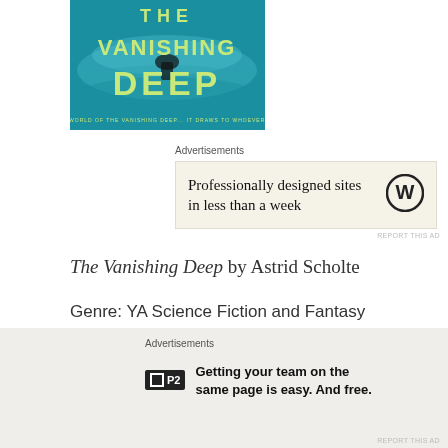[Figure (illustration): Book cover of 'The Vanishing Deep' showing teal water with the title text in large yellow letters]
Advertisements
[Figure (screenshot): WordPress advertisement: 'Professionally designed sites in less than a week' with WordPress logo]
REPORT THIS AD
The Vanishing Deep by Astrid Scholte
Genre: YA Science Fiction and Fantasy
Rating: 4//5 stars
Advertisements
[Figure (screenshot): P2 advertisement: 'Getting your team on the same page is easy. And free.' with P2 logo]
REPORT THIS AD